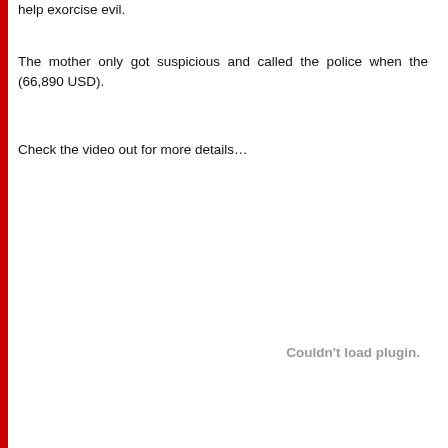help exorcise evil.
The mother only got suspicious and called the police when the (66,890 USD).
Check the video out for more details…
Couldn't load plugin.